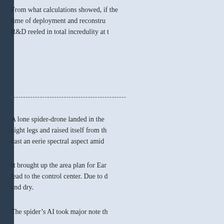From what calculations showed, if the time of deployment and reconstruction... R&D reeled in total incredulity at t...
------------------------------------------------...
A lone spider-drone landed in the... eight legs and raised itself from th... cast an eerie spectral aspect amid...
It brought up the area plan for Ear... lead to the control center. Due to ... and dry.
The spider's AI took major note th... airy tinkling way. The insides show... damage of whatever the bombs w... noted that the fuel cell and many o... peak, as the drone AI expected. T... not shut down.
The first thing the bot prioritized w... an issue. It quickly replaced the fu... came to life now that nominal ene...